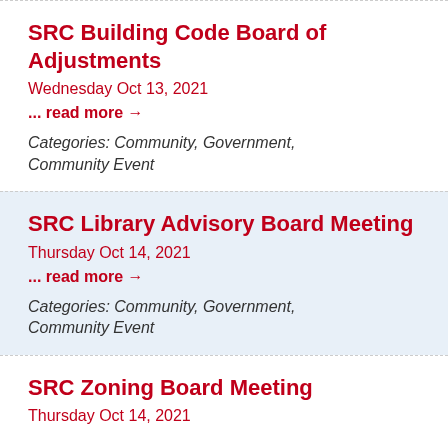SRC Building Code Board of Adjustments
Wednesday Oct 13, 2021
... read more →
Categories: Community, Government, Community Event
SRC Library Advisory Board Meeting
Thursday Oct 14, 2021
... read more →
Categories: Community, Government, Community Event
SRC Zoning Board Meeting
Thursday Oct 14, 2021